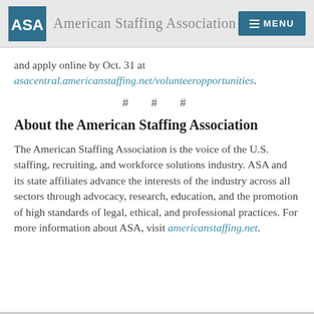American Staffing Association | MENU
and apply online by Oct. 31 at asacentral.americanstaffing.net/volunteeropportunities.
# # #
About the American Staffing Association
The American Staffing Association is the voice of the U.S. staffing, recruiting, and workforce solutions industry. ASA and its state affiliates advance the interests of the industry across all sectors through advocacy, research, education, and the promotion of high standards of legal, ethical, and professional practices. For more information about ASA, visit americanstaffing.net.